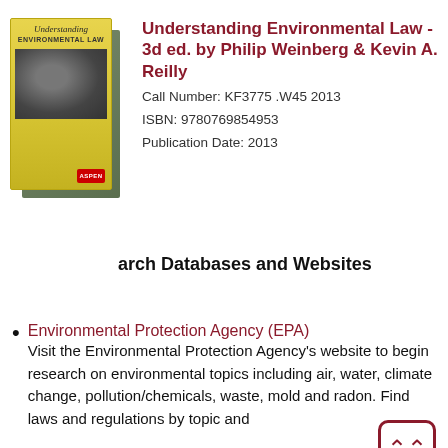[Figure (photo): Book cover for Understanding Environmental Law 3d ed., yellow and green covers stacked]
Understanding Environmental Law - 3d ed. by Philip Weinberg & Kevin A. Reilly
Call Number: KF3775 .W45 2013
ISBN: 9780769854953
Publication Date: 2013
arch Databases and Websites
Environmental Protection Agency (EPA)
Visit the Environmental Protection Agency's website to begin research on environmental topics including air, water, climate change, pollution/chemicals, waste, mold and radon. Find laws and regulations by topic and